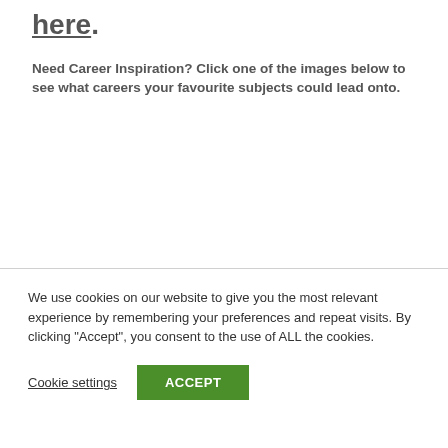here.
Need Career Inspiration? Click one of the images below to see what careers your favourite subjects could lead onto.
We use cookies on our website to give you the most relevant experience by remembering your preferences and repeat visits. By clicking "Accept", you consent to the use of ALL the cookies.
Cookie settings
ACCEPT